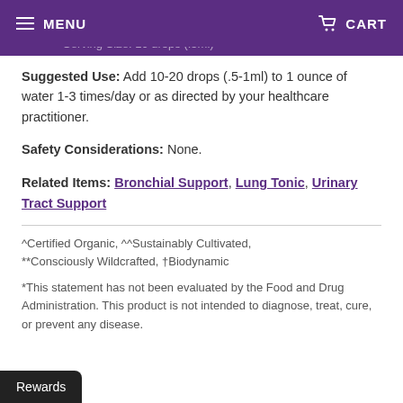MENU | CART
Serving Size: 10 drops (.5ml)
Suggested Use: Add 10-20 drops (.5-1ml) to 1 ounce of water 1-3 times/day or as directed by your healthcare practitioner.
Safety Considerations: None.
Related Items: Bronchial Support, Lung Tonic, Urinary Tract Support
^Certified Organic, ^^Sustainably Cultivated, **Consciously Wildcrafted, †Biodynamic
*This statement has not been evaluated by the Food and Drug Administration. This product is not intended to diagnose, treat, cure, or prevent any disease.